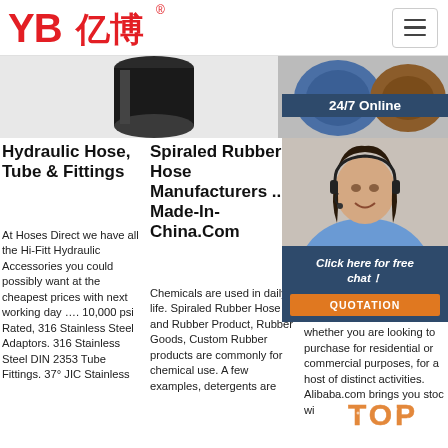[Figure (logo): YB亿博 logo in red with registered trademark symbol]
[Figure (photo): Dark cylindrical hydraulic product image at center, blue and brown fittings at right]
Hydraulic Hose, Tube & Fittings
At Hoses Direct we have all the Hi-Fitt Hydraulic Accessories you could possibly want at the cheapest prices with next working day …. 10,000 psi Rated, 316 Stainless Steel Adaptors. 316 Stainless Steel DIN 2353 Tube Fittings. 37° JIC Stainless
Spiraled Rubber Hose Manufacturers ... - Made-In-China.Com
Chemicals are used in daily life. Spiraled Rubber Hose and Rubber Product, Rubber Goods, Custom Rubber products are commonly for chemical use. A few examples, detergents are
Ste Sp Hy Ho
Abo sup spi hos com whether you are looking to purchase for residential or commercial purposes, for a host of distinct activities. Alibaba.com brings you stoc wi
[Figure (photo): 24/7 Online customer service chat widget with woman wearing headset, click here for free chat button, and QUOTATION button]